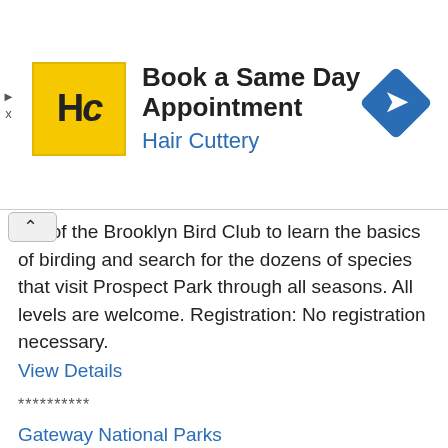[Figure (screenshot): Hair Cuttery advertisement banner with yellow HC logo, 'Book a Same Day Appointment' heading, 'Hair Cuttery' subtitle in blue, and a blue diamond navigation icon on the right.]
ber of the Brooklyn Bird Club to learn the basics of birding and search for the dozens of species that visit Prospect Park through all seasons. All levels are welcome. Registration: No registration necessary.
View Details
**********
Gateway National Parks
Fort Tour and Hike
Every week on Sunday until March 27, 2022, 2:00pm - 3:00pm
Leader: Park Rangers
Description: Join us for a hike around Fort Wadsworth as we explore both the natural areas and the remnants of the